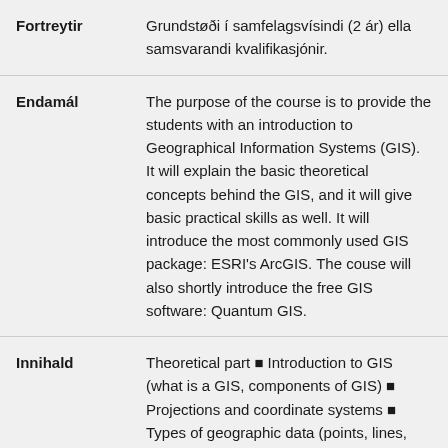| Fortreytir | Grundstøði í samfelagsvísindi (2 ár) ella samsvarandi kvalifikasjónir. |
| Endamál | The purpose of the course is to provide the students with an introduction to Geographical Information Systems (GIS). It will explain the basic theoretical concepts behind the GIS, and it will give basic practical skills as well. It will introduce the most commonly used GIS package: ESRI's ArcGIS. The couse will also shortly introduce the free GIS software: Quantum GIS. |
| Innihald | Theoretical part  Introduction to GIS (what is a GIS, components of GIS)  Projections and coordinate systems  Types of geographic data (points, lines, |